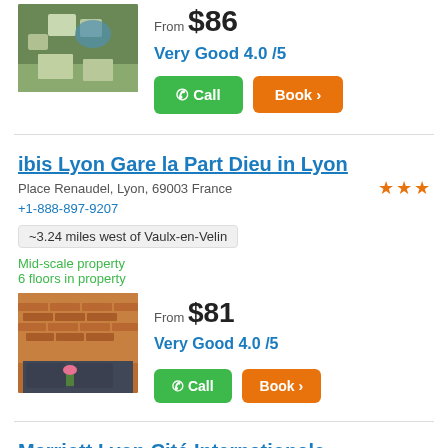From $86
Very Good 4.0 /5
Call
Book
ibis Lyon Gare la Part Dieu in Lyon
Place Renaudel, Lyon, 69003 France
+1-888-897-9207
~3.24 miles west of Vaulx-en-Velin
Mid-scale property
6 floors in property
[Figure (photo): Hotel lobby or lounge area with brick wall and seating]
From $81
Very Good 4.0 /5
Call
Book
Marriott Lyon Cité Internationale
70 Quai Charles De Gaulle, Lyon, 69463 France